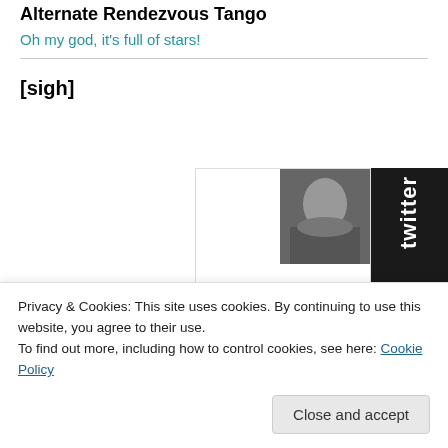Alternate Rendezvous Tango
Oh my god, it's full of stars!
[sigh]
[Figure (screenshot): Twitter widget showing a profile photo and tweet text rotated sideways. Username 'maudnewton', tweet text 'On a foggy, coo favorite New Or', date '17 Dec', twitter logo and bird icon on dark right panel, search button visible.]
Privacy & Cookies: This site uses cookies. By continuing to use this website, you agree to their use.
To find out more, including how to control cookies, see here: Cookie Policy
Close and accept